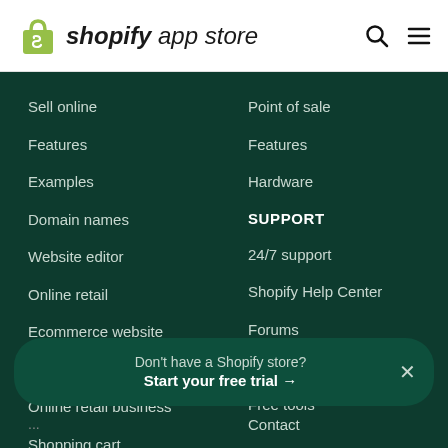[Figure (logo): Shopify App Store logo with green shopping bag icon and text 'shopify app store']
Sell online
Features
Examples
Domain names
Website editor
Online retail
Ecommerce website
Themes
Online retail business
Shopping cart
Point of sale
Features
Hardware
SUPPORT
24/7 support
Shopify Help Center
Forums
API documentation
Free tools
Don't have a Shopify store? Start your free trial →
Contact